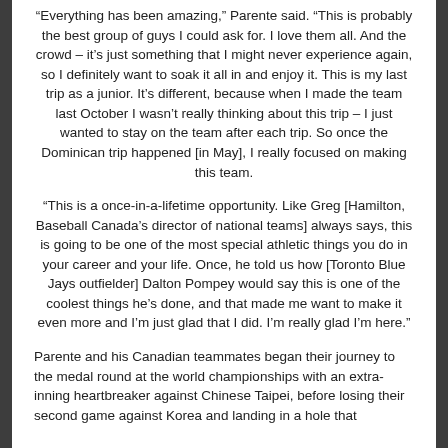“Everything has been amazing,” Parente said. “This is probably the best group of guys I could ask for. I love them all. And the crowd – it’s just something that I might never experience again, so I definitely want to soak it all in and enjoy it. This is my last trip as a junior. It’s different, because when I made the team last October I wasn’t really thinking about this trip – I just wanted to stay on the team after each trip. So once the Dominican trip happened [in May], I really focused on making this team.
“This is a once-in-a-lifetime opportunity. Like Greg [Hamilton, Baseball Canada’s director of national teams] always says, this is going to be one of the most special athletic things you do in your career and your life. Once, he told us how [Toronto Blue Jays outfielder] Dalton Pompey would say this is one of the coolest things he’s done, and that made me want to make it even more and I’m just glad that I did. I’m really glad I’m here.”
Parente and his Canadian teammates began their journey to the medal round at the world championships with an extra-inning heartbreaker against Chinese Taipei, before losing their second game against Korea and landing in a hole that